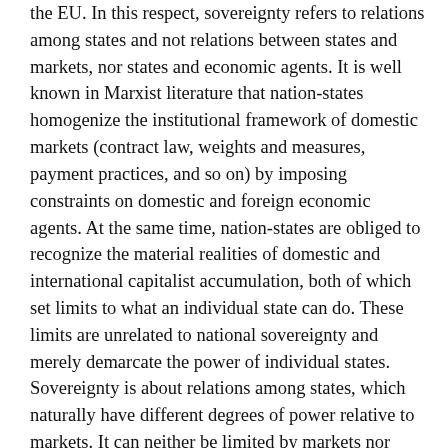the EU. In this respect, sovereignty refers to relations among states and not relations between states and markets, nor states and economic agents. It is well known in Marxist literature that nation-states homogenize the institutional framework of domestic markets (contract law, weights and measures, payment practices, and so on) by imposing constraints on domestic and foreign economic agents. At the same time, nation-states are obliged to recognize the material realities of domestic and international capitalist accumulation, both of which set limits to what an individual state can do. These limits are unrelated to national sovereignty and merely demarcate the power of individual states. Sovereignty is about relations among states, which naturally have different degrees of power relative to markets. It can neither be limited by markets nor capitalist enterprises, but only by another state.
In any system of states, furthermore, the will of one is